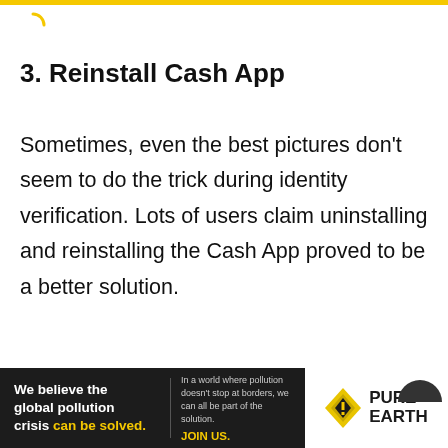[Figure (logo): Yellow partial circle / loading spinner icon in top left corner]
3. Reinstall Cash App
Sometimes, even the best pictures don't seem to do the trick during identity verification. Lots of users claim uninstalling and reinstalling the Cash App proved to be a better solution.
[Figure (infographic): Advertisement banner: 'We believe the global pollution crisis can be solved.' with Pure Earth logo. Black background left panel with yellow accent text, white right panel with diamond logo and PURE EARTH text.]